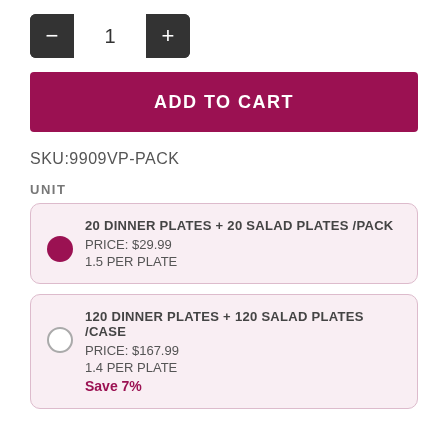[Figure (other): Quantity stepper control showing minus button, quantity 1, and plus button]
ADD TO CART
SKU:9909VP-PACK
UNIT
20 DINNER PLATES + 20 SALAD PLATES /PACK
PRICE: $29.99
1.5 PER PLATE
120 DINNER PLATES + 120 SALAD PLATES /CASE
PRICE: $167.99
1.4 PER PLATE
Save 7%